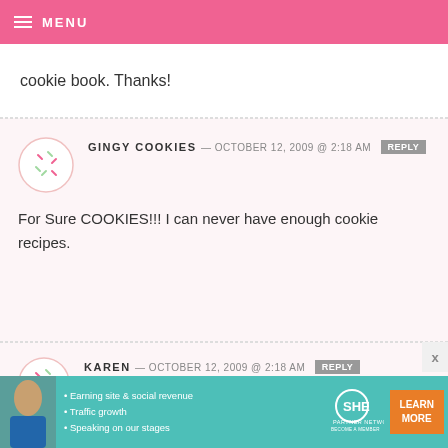MENU
cookie book. Thanks!
GINGY COOKIES — OCTOBER 12, 2009 @ 2:18 AM REPLY
For Sure COOKIES!!! I can never have enough cookie recipes.
KAREN — OCTOBER 12, 2009 @ 2:18 AM REPLY
such a tough choice... but today i'll
[Figure (infographic): SHE Partner Network advertisement banner with woman photo, bullet points about earning site & social revenue, traffic growth, speaking on our stages, SHE logo, and Learn More button.]